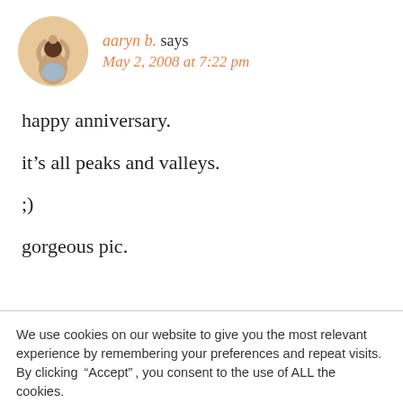[Figure (photo): Circular avatar photo of a person (aaryn b.) shown from behind with arms raised overhead in a yoga pose, against a warm peach/tan background.]
aaryn b. says
May 2, 2008 at 7:22 pm
happy anniversary.
it's all peaks and valleys.
;)
gorgeous pic.
We use cookies on our website to give you the most relevant experience by remembering your preferences and repeat visits. By clicking “Accept”, you consent to the use of ALL the cookies.
Do not sell my personal information.
Cookie settings
ACCEPT